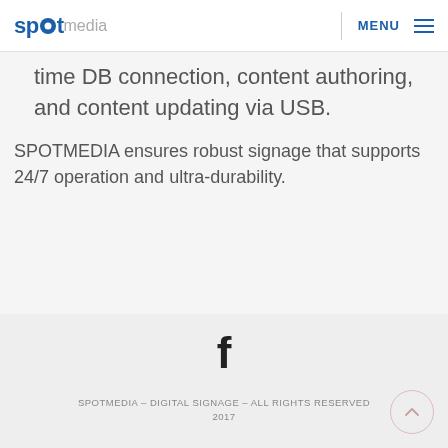spotmedia MENU
time DB connection, content authoring, and content updating via USB.
SPOTMEDIA ensures robust signage that supports 24/7 operation and ultra-durability.
[Figure (illustration): Facebook icon (f logo) centered in footer area]
SPOTMEDIA – DIGITAL SIGNAGE – ALL RIGHTS RESERVED 2017